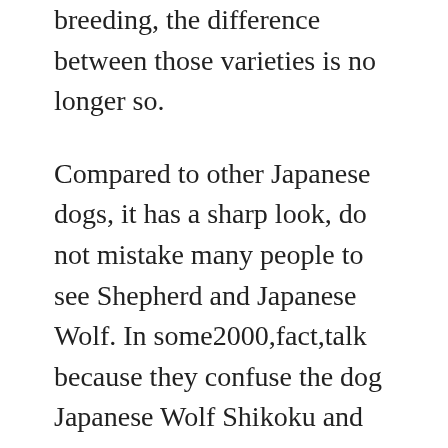breeding, the difference between those varieties is no longer so.
Compared to other Japanese dogs, it has a sharp look, do not mistake many people to see Shepherd and Japanese Wolf. In some2000,fact,talk because they confuse the dog Japanese Wolf Shikoku and also in it was shaking the media.
Others are wary of the dog seems to have the blood of the dog in Japan, but to its master it is faithful. It is also possible that hound dog is also originally Shikoku-Inu, so pretty rough temper, would have to bite to others attention. As a